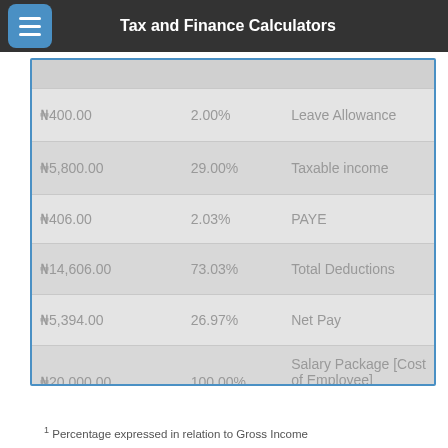Tax and Finance Calculators
| Amount | Percentage | Description |
| --- | --- | --- |
| ₦400.00 | 2.00% | Leave Allowance |
| ₦5,800.00 | 29.00% | Taxable income |
| ₦406.00 | 2.03% | PAYE |
| ₦14,606.00 | 73.03% | Total Deductions |
| ₦5,394.00 | 26.97% | Net Pay |
| ₦20,000.00 | 100.00% | Salary Package [Cost of Employee] |
1 Percentage expressed in relation to Gross Income